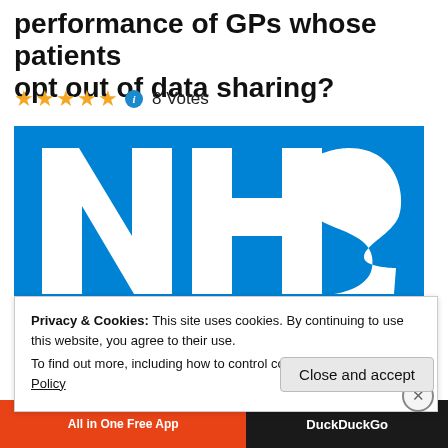performance of GPs whose patients opt out of data sharing?
★★★★★ ⓘ 8 Votes
[Figure (logo): NHS logo — blue rectangle with white bold italic 'NHS' letters]
NOT FOR SALE
Privacy & Cookies: This site uses cookies. By continuing to use this website, you agree to their use.
To find out more, including how to control cookies, see here: Cookie Policy
Close and accept
All in One Free App   DuckDuckGo